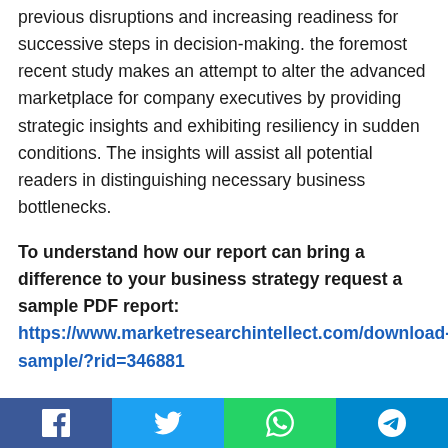previous disruptions and increasing readiness for successive steps in decision-making. the foremost recent study makes an attempt to alter the advanced marketplace for company executives by providing strategic insights and exhibiting resiliency in sudden conditions. The insights will assist all potential readers in distinguishing necessary business bottlenecks.
To understand how our report can bring a difference to your business strategy request a sample PDF report: https://www.marketresearchintellect.com/download-sample/?rid=346881
The primary objective of the report is to educate business owners and assist them in making an astute investment in the market. The study highlights regional and sub-regional insights
Social share buttons: Facebook, Twitter, WhatsApp, Telegram